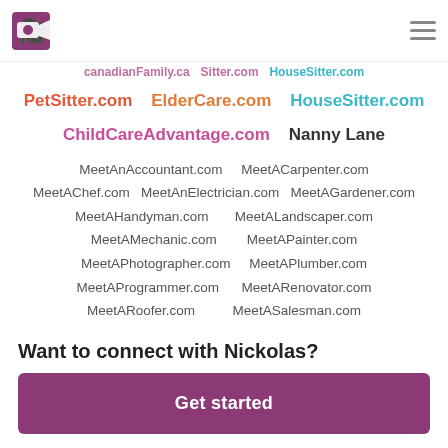Logo and navigation
canadianFamily.ca   Sitter.com   HouseSitter.com (partial, scrolled)
PetSitter.com   ElderCare.com   HouseSitter.com
ChildCareAdvantage.com   Nanny Lane
MeetAnAccountant.com   MeetACarpenter.com
MeetAChef.com   MeetAnElectrician.com   MeetAGardener.com
MeetAHandyman.com   MeetALandscaper.com
MeetAMechanic.com   MeetAPainter.com
MeetAPhotographer.com   MeetAPlumber.com
MeetAProgrammer.com   MeetARenovator.com
MeetARoofer.com   MeetASalesman.com
MeetASecurityguard.com   MeetATruckdriver.com
MeetATutor.com   MeetAVideographer.com
Want to connect with Nickolas?
Get started